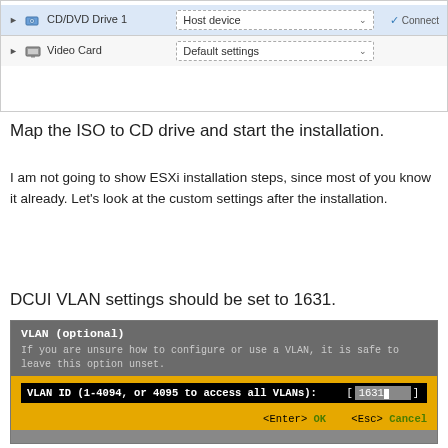[Figure (screenshot): Virtual machine hardware settings screenshot showing CD/DVD Drive 1 with Host device dropdown and Connect checkbox, and Video Card with Default settings dropdown]
Map the ISO to CD drive and start the installation.
I am not going to show ESXi installation steps, since most of you know it already. Let’s look at the custom settings after the installation.
DCUI VLAN settings should be set to 1631.
[Figure (screenshot): DCUI VLAN configuration screen showing VLAN (optional) header with description text, VLAN ID input field showing 1631, and Enter/OK/Esc/Cancel buttons]